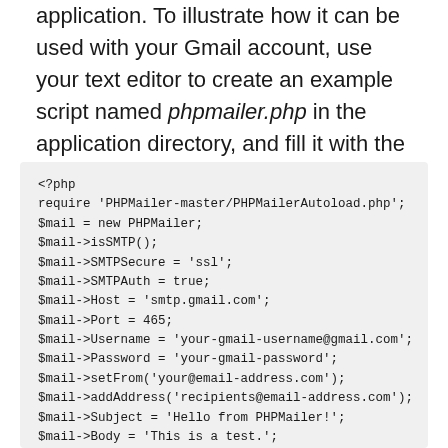application. To illustrate how it can be used with your Gmail account, use your text editor to create an example script named phpmailer.php in the application directory, and fill it with the following code. Once done, save your changes.
<?php
require 'PHPMailer-master/PHPMailerAutoload.php';
$mail = new PHPMailer;
$mail->isSMTP();
$mail->SMTPSecure = 'ssl';
$mail->SMTPAuth = true;
$mail->Host = 'smtp.gmail.com';
$mail->Port = 465;
$mail->Username = 'your-gmail-username@gmail.com';
$mail->Password = 'your-gmail-password';
$mail->setFrom('your@email-address.com');
$mail->addAddress('recipients@email-address.com');
$mail->Subject = 'Hello from PHPMailer!';
$mail->Body = 'This is a test.';
//send the message, check for errors